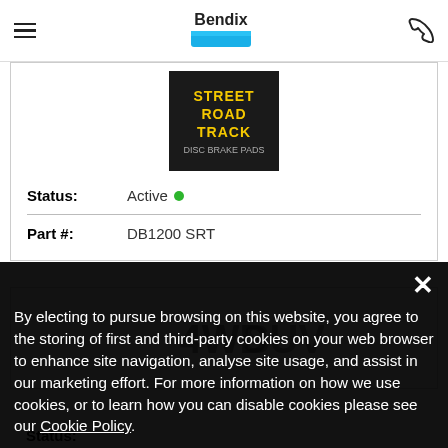Bendix
[Figure (logo): Street Road Track Disc Brake Pads product image]
| Field | Value |
| --- | --- |
| Status: | Active |
| Part #: | DB1200 SRT |
[Figure (logo): 4WD SUV product image (partially visible)]
By electing to pursue browsing on this website, you agree to the storing of first and third-party cookies on your web browser to enhance site navigation, analyse site usage, and assist in our marketing effort. For more information on how we use cookies, or to learn how you can disable cookies please see our Cookie Policy.
Status: